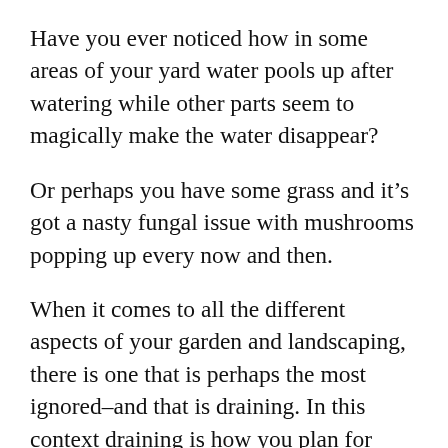Have you ever noticed how in some areas of your yard water pools up after watering while other parts seem to magically make the water disappear?
Or perhaps you have some grass and it's got a nasty fungal issue with mushrooms popping up every now and then.
When it comes to all the different aspects of your garden and landscaping, there is one that is perhaps the most ignored–and that is draining. In this context draining is how you plan for water, whether from sprinkling or rain, is supposed to flow through your yard.